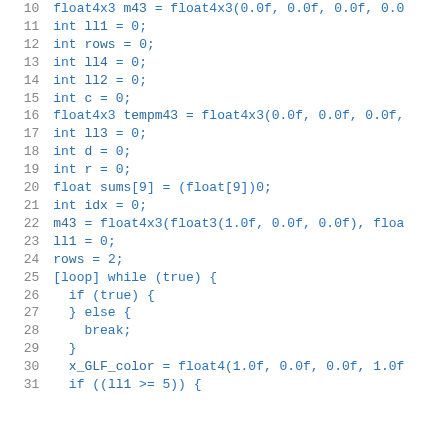Code listing lines 10-31: shader/GLSL variable declarations and loop
[Figure (screenshot): Source code listing showing lines 10 through 31 of a GLSL/shader program with variable declarations (float4x3, int, float arrays) and a while loop with break condition and x_GLF_color assignment]